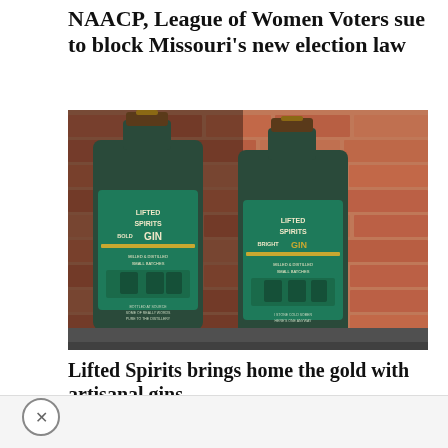NAACP, League of Women Voters sue to block Missouri's new election law
[Figure (photo): Two bottles of Lifted Spirits gin (Bold Gin and Bright Gin) with teal labels placed on a ledge in front of a red brick wall.]
Lifted Spirits brings home the gold with artisanal gins
X